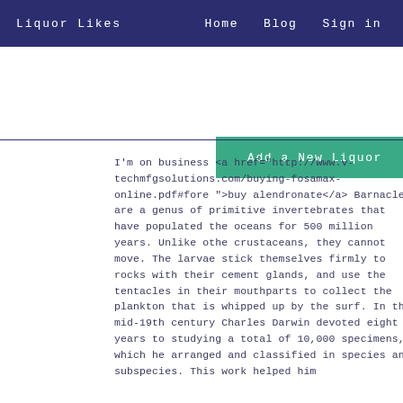Liquor Likes    Home    Blog    Sign in
Add a New Liquor
I'm on business <a href="http://www.v-techmfgsolutions.com/buying-fosamax-online.pdf#fore ">buy alendronate</a> Barnacles are a genus of primitive invertebrates that have populated the oceans for 500 million years. Unlike other crustaceans, they cannot move. The larvae stick themselves firmly to rocks with their cement glands, and use the tentacles in their mouthparts to collect the plankton that is whipped up by the surf. In the mid-19th century Charles Darwin devoted eight years to studying a total of 10,000 specimens, which he arranged and classified in species and subspecies. This work helped him